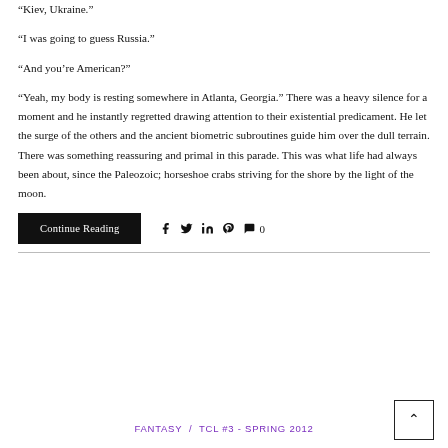“Kiev, Ukraine.”
“I was going to guess Russia.”
“And you’re American?”
“Yeah, my body is resting somewhere in Atlanta, Georgia.” There was a heavy silence for a moment and he instantly regretted drawing attention to their existential predicament. He let the surge of the others and the ancient biometric subroutines guide him over the dull terrain. There was something reassuring and primal in this parade. This was what life had always been about, since the Paleozoic; horseshoe crabs striving for the shore by the light of the moon.
Continue Reading
FANTASY / TCL #3 - SPRING 2012